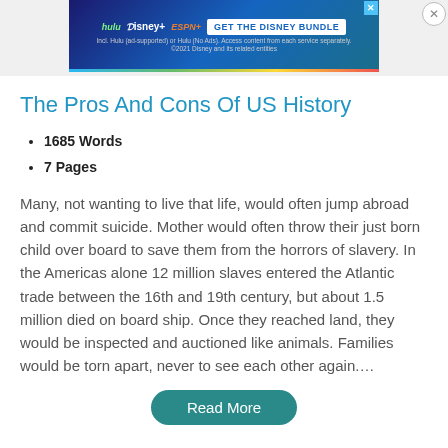[Figure (screenshot): Disney Bundle advertisement banner with Hulu, Disney+, ESPN+ logos and GET THE DISNEY BUNDLE button]
The Pros And Cons Of US History
1685 Words
7 Pages
Many, not wanting to live that life, would often jump abroad and commit suicide. Mother would often throw their just born child over board to save them from the horrors of slavery. In the Americas alone 12 million slaves entered the Atlantic trade between the 16th and 19th century, but about 1.5 million died on board ship. Once they reached land, they would be inspected and auctioned like animals. Families would be torn apart, never to see each other again....
Read More